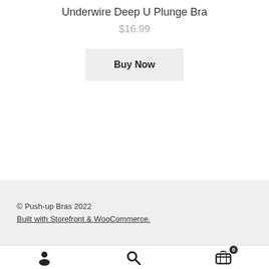Underwire Deep U Plunge Bra
$16.99
Buy Now
© Push-up Bras 2022
Built with Storefront & WooCommerce.